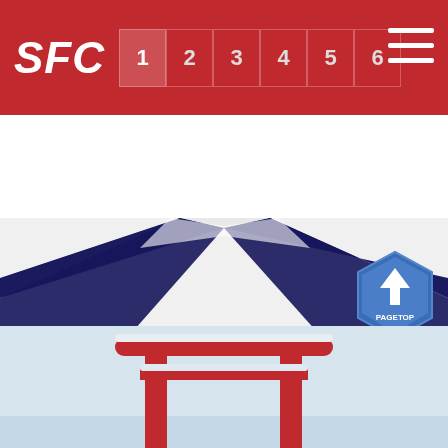SFC navigation bar with logo and menu numbers 1-6
Search/button bar (placeholder text)
[Figure (photo): Diagonal blue ribbon/road perspective view on white background]
POPULAR
[Figure (illustration): PAGETOP button badge with hot air balloon icons]
[Figure (photo): Red torii gate in snow/winter scene]